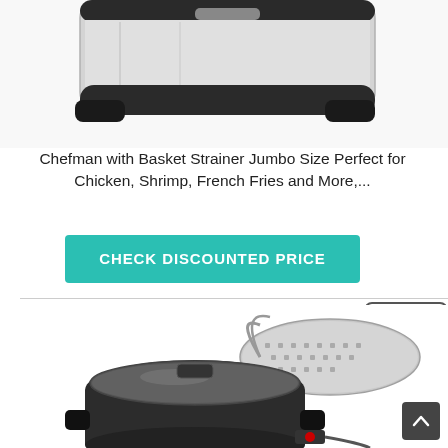[Figure (photo): Top portion of a stainless steel and black deep fryer appliance, partially cropped at top]
Chefman with Basket Strainer Jumbo Size Perfect for Chicken, Shrimp, French Fries and More,...
[Figure (other): Teal/turquoise button labeled CHECK DISCOUNTED PRICE]
[Figure (other): Table of contents icon with numbered lines (1, 2, 3) in a rounded rectangle border]
[Figure (photo): Black electric deep fryer pot with glass lid and a stainless steel perforated basket strainer beside it]